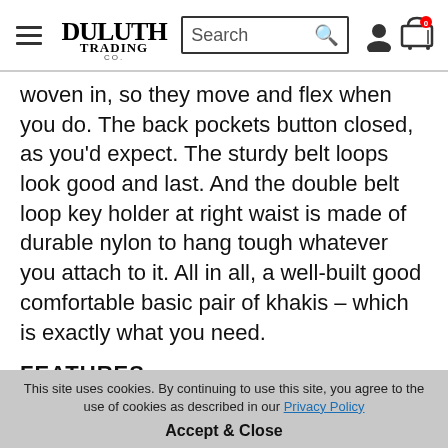Duluth Trading Co. navigation header with logo, search box, and cart icons
woven in, so they move and flex when you do. The back pockets button closed, as you'd expect. The sturdy belt loops look good and last. And the double belt loop key holder at right waist is made of durable nylon to hang tough whatever you attach to it. All in all, a well-built good comfortable basic pair of khakis – which is exactly what you need.
FEATURES
8.5-oz. 58% cotton/40% polyester/2% spandex flex twill fabric
4 pockets total, capable of carrying things
This site uses cookies. By continuing to use this site, you agree to the use of cookies as described in our Privacy Policy
Accept & Close